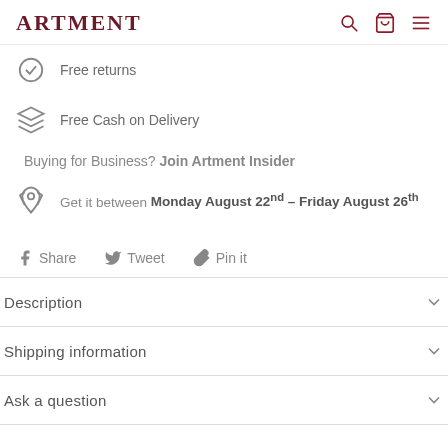ARTMENT
Free returns
Free Cash on Delivery
Buying for Business? Join Artment Insider
Get it between Monday August 22nd – Friday August 26th
Share   Tweet   Pin it
Description
Shipping information
Ask a question